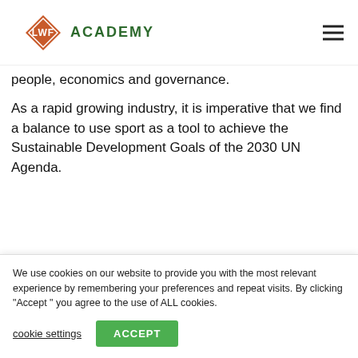[Figure (logo): LWF Academy logo: orange diamond shape with LWF text in white, followed by ACADEMY in dark green bold uppercase letters]
people, economics and governance.
As a rapid growing industry, it is imperative that we find a balance to use sport as a tool to achieve the Sustainable Development Goals of the 2030 UN Agenda.
[Figure (other): Partial orange rounded button at bottom of main content area]
We use cookies on our website to provide you with the most relevant experience by remembering your preferences and repeat visits. By clicking "Accept " you agree to the use of ALL cookies.
cookie settings
ACCEPT